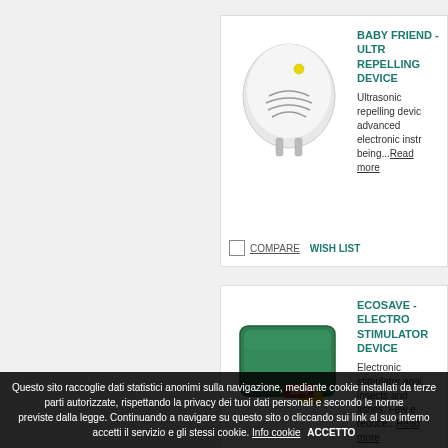BABY FRIEND - ULTR... REPELLING DEVICE
Ultrasonic repelling device advanced electronic instr... being...Read more
COMPARE   WISH LIST
ECOSAVE - ELECTRO... STIMULATOR DEVICE
Electronic stimulator agai... insects and fishes. Few e... reduce...Read more
COMPARE   WISH LIST
Questo sito raccoglie dati statistici anonimi sulla navigazione, mediante cookie installati da terze parti autorizzate, rispettando la privacy dei tuoi dati personali e secondo le norme previste dalla legge. Continuando a navigare su questo sito o cliccando sui link al suo interno accetti il servizio e gli stessi cookie. Info cookie ACCETTO